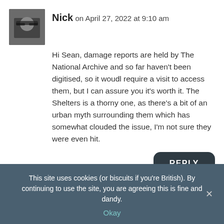[Figure (photo): Avatar photo of commenter Nick, person with glasses]
Nick on April 27, 2022 at 9:10 am
Hi Sean, damage reports are held by The National Archive and so far haven't been digitised, so it woudl require a visit to access them, but I can assure you it's worth it. The Shelters is a thorny one, as there's a bit of an urban myth surrounding them which has somewhat clouded the issue, I'm not sure they were even hit.
REPLY
[Figure (photo): Avatar photo of commenter Dominic Stiles, appears to be an animal or textured image]
Dominic Stiles on June 4, 2022 at 2:00 pm
This site uses cookies (or biscuits if you're British). By continuing to use the site, you are agreeing this is fine and dandy.
Okay